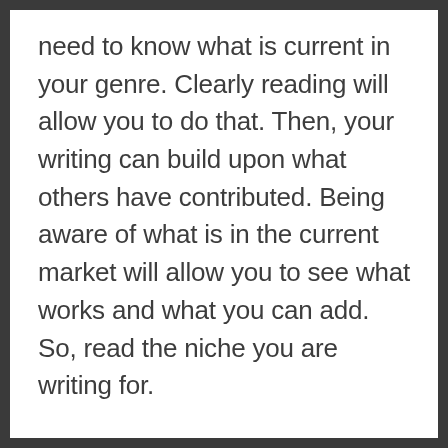need to know what is current in your genre. Clearly reading will allow you to do that. Then, your writing can build upon what others have contributed. Being aware of what is in the current market will allow you to see what works and what you can add. So, read the niche you are writing for.
Other genres will allow you to find things that you can add to give your writing an extra edge. You may find